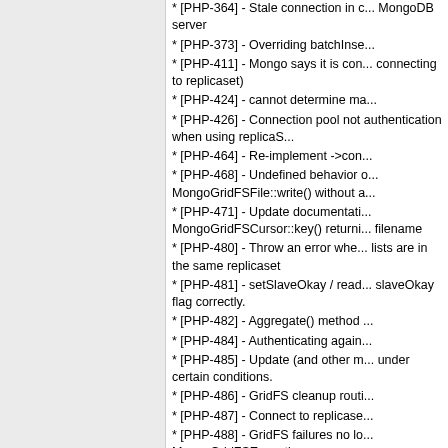* [PHP-364] - Stale connection in connecting to MongoDB server
* [PHP-373] - Overriding batchInsert
* [PHP-411] - Mongo says it is connecting to replicaset)
* [PHP-424] - cannot determine master
* [PHP-426] - Connection pool not authentication when using replicaSet
* [PHP-464] - Re-implement ->connect
* [PHP-468] - Undefined behavior on MongoGridFSFile::write() without a
* [PHP-471] - Update documentation MongoGridFSCursor::key() returning filename
* [PHP-480] - Throw an error when lists are in the same replicaset
* [PHP-481] - setSlaveOkay / readPreference slaveOkay flag correctly.
* [PHP-482] - Aggregate() method
* [PHP-484] - Authenticating again
* [PHP-485] - Update (and other m under certain conditions.
* [PHP-486] - GridFS cleanup routine
* [PHP-487] - Connect to replicaset
* [PHP-488] - GridFS failures no longer MongoGridFSException
* [PHP-489] - is_master() crashes
* [PHP-499] - Re-order changelogs